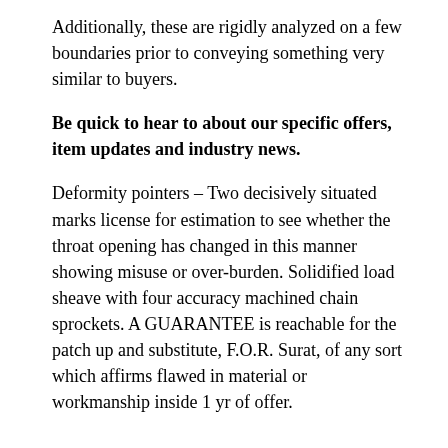Additionally, these are rigidly analyzed on a few boundaries prior to conveying something very similar to buyers.
Be quick to hear to about our specific offers, item updates and industry news.
Deformity pointers – Two decisively situated marks license for estimation to see whether the throat opening has changed in this manner showing misuse or over-burden. Solidified load sheave with four accuracy machined chain sprockets. A GUARANTEE is reachable for the patch up and substitute, F.O.R. Surat, of any sort which affirms flawed in material or workmanship inside 1 yr of offer.